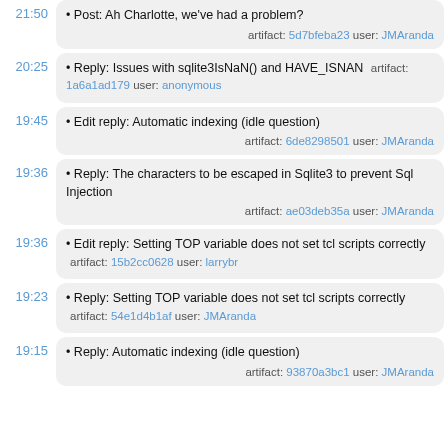21:50 • Post: Ah Charlotte, we've had a problem? artifact: 5d7bfeba23 user: JMAranda
20:25 • Reply: Issues with sqlite3IsNaN() and HAVE_ISNAN artifact: 1a6a1ad179 user: anonymous
19:45 • Edit reply: Automatic indexing (idle question) artifact: 6de8298501 user: JMAranda
19:36 • Reply: The characters to be escaped in Sqlite3 to prevent Sql Injection artifact: ae03deb35a user: JMAranda
19:36 • Edit reply: Setting TOP variable does not set tcl scripts correctly artifact: 15b2cc0628 user: larrybr
19:23 • Reply: Setting TOP variable does not set tcl scripts correctly artifact: 54e1d4b1af user: JMAranda
19:15 • Reply: Automatic indexing (idle question) artifact: 93870a3bc1 user: JMAranda